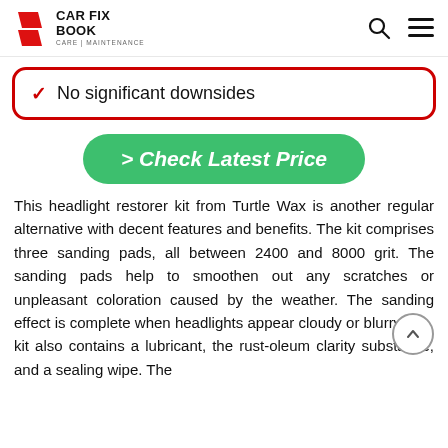CAR FIX BOOK — CARE | MAINTENANCE
No significant downsides
Check Latest Price
This headlight restorer kit from Turtle Wax is another regular alternative with decent features and benefits. The kit comprises three sanding pads, all between 2400 and 8000 grit. The sanding pads help to smoothen out any scratches or unpleasant coloration caused by the weather. The sanding effect is complete when headlights appear cloudy or blurry. The kit also contains a lubricant, the rust-oleum clarity substance, and a sealing wipe. The